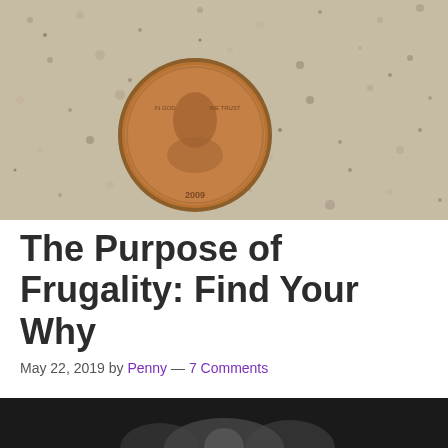[Figure (photo): A penny (copper coin) resting on a sandy/gravelly surface, photographed from above]
The Purpose of Frugality: Find Your Why
May 22, 2019 by Penny — 7 Comments
[Figure (photo): Partial photo at the bottom of the page, dark background with what appears to be coins or metallic objects]